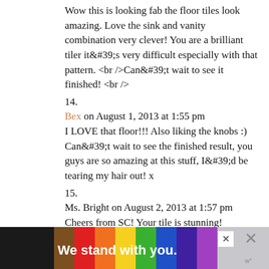Wow this is looking fab the floor tiles look amazing. Love the sink and vanity combination very clever! You are a brilliant tiler it&#39;s very difficult especially with that pattern. <br />Can&#39;t wait to see it finished! <br />
14.
Bex on August 1, 2013 at 1:55 pm
I LOVE that floor!!! Also liking the knobs :) Can&#39;t wait to see the finished result, you guys are so amazing at this stuff, I&#39;d be tearing my hair out! x
15.
Ms. Bright on August 2, 2013 at 1:57 pm
Cheers from SC! Your tile is stunning!
[Figure (infographic): Rainbow pride advertisement banner reading 'We stand with you.' with multicolor stripes and close buttons]